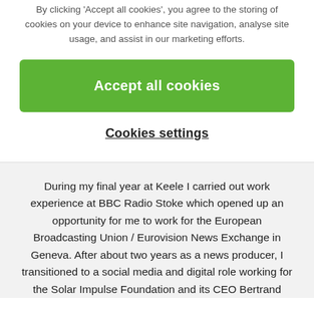By clicking 'Accept all cookies', you agree to the storing of cookies on your device to enhance site navigation, analyse site usage, and assist in our marketing efforts.
Accept all cookies
Cookies settings
During my final year at Keele I carried out work experience at BBC Radio Stoke which opened up an opportunity for me to work for the European Broadcasting Union / Eurovision News Exchange in Geneva. After about two years as a news producer, I transitioned to a social media and digital role working for the Solar Impulse Foundation and its CEO Bertrand